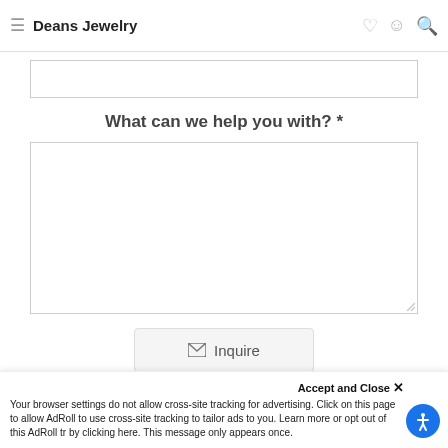Deans Jewelry
What can we help you with? *
[Figure (screenshot): Inquire button with email icon and text 'Inquire']
This site is protected by reCAPTCHA and the Google Privacy Policy and Terms of Service appl
Accept and Close ×
Your browser settings do not allow cross-site tracking for advertising. Click on this page to allow AdRoll to use cross-site tracking to tailor ads to you. Learn more or opt out of this AdRoll tr by clicking here. This message only appears once.